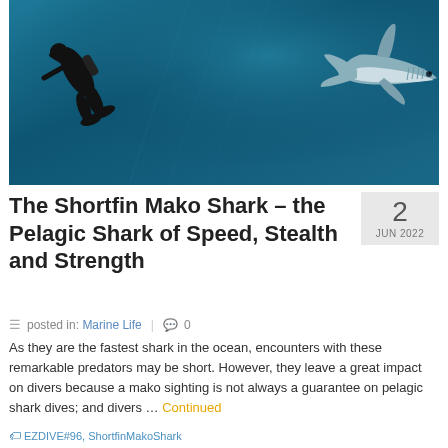[Figure (photo): Underwater photograph of a diver swimming alongside a large shortfin mako shark in deep blue ocean water]
The Shortfin Mako Shark – the Pelagic Shark of Speed, Stealth and Strength
2 JUN 2022
posted in: Marine Life  |  0
As they are the fastest shark in the ocean, encounters with these remarkable predators may be short. However, they leave a great impact on divers because a mako sighting is not always a guarantee on pelagic shark dives; and divers … Continued
EZDIVE#96, ShortfinMakoShark